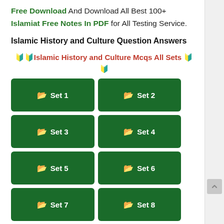Free Download And Download All Best 100+ Islamiat Free Notes In PDF for All Testing Service.
Islamic History and Culture Question Answers
🔰🔰Islamic History and Culture Mcqs All Sets 🔰🔰
📁 Set 1
📁 Set 2
📁 Set 3
📁 Set 4
📁 Set 5
📁 Set 6
📁 Set 7
📁 Set 8
📁 Set 9
📁 Set 10